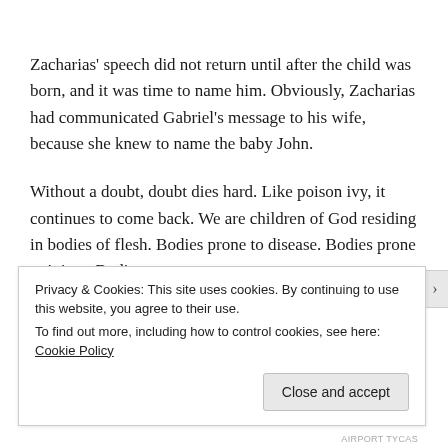Zacharias' speech did not return until after the child was born, and it was time to name him. Obviously, Zacharias had communicated Gabriel's message to his wife, because she knew to name the baby John.
Without a doubt, doubt dies hard. Like poison ivy, it continues to come back. We are children of God residing in bodies of flesh. Bodies prone to disease. Bodies prone to injury. Bodies
Privacy & Cookies: This site uses cookies. By continuing to use this website, you agree to their use.
To find out more, including how to control cookies, see here: Cookie Policy
Close and accept